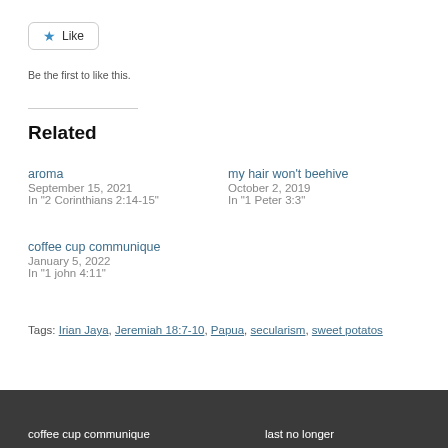[Figure (other): Like button with blue star icon and 'Like' text, rounded rectangle border]
Be the first to like this.
Related
aroma
September 15, 2021
In "2 Corinthians 2:14-15"
my hair won't beehive
October 2, 2019
In "1 Peter 3:3"
coffee cup communique
January 5, 2022
In "1 john 4:11"
Tags: Irian Jaya, Jeremiah 18:7-10, Papua, secularism, sweet potatos
coffee cup communique   last no longer